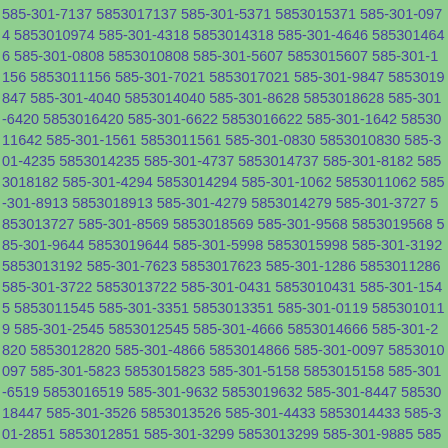585-301-7137 5853017137 585-301-5371 5853015371 585-301-0974 5853010974 585-301-4318 5853014318 585-301-4646 5853014646 585-301-0808 5853010808 585-301-5607 5853015607 585-301-1156 5853011156 585-301-7021 5853017021 585-301-9847 5853019847 585-301-4040 5853014040 585-301-8628 5853018628 585-301-6420 5853016420 585-301-6622 5853016622 585-301-1642 5853011642 585-301-1561 5853011561 585-301-0830 5853010830 585-301-4235 5853014235 585-301-4737 5853014737 585-301-8182 5853018182 585-301-4294 5853014294 585-301-1062 5853011062 585-301-8913 5853018913 585-301-4279 5853014279 585-301-3727 5853013727 585-301-8569 5853018569 585-301-9568 5853019568 585-301-9644 5853019644 585-301-5998 5853015998 585-301-3192 5853013192 585-301-7623 5853017623 585-301-1286 5853011286 585-301-3722 5853013722 585-301-0431 5853010431 585-301-1545 5853011545 585-301-3351 5853013351 585-301-0119 5853010119 585-301-2545 5853012545 585-301-4666 5853014666 585-301-2820 5853012820 585-301-4866 5853014866 585-301-0097 5853010097 585-301-5823 5853015823 585-301-5158 5853015158 585-301-6519 5853016519 585-301-9632 5853019632 585-301-8447 5853018447 585-301-3526 5853013526 585-301-4433 5853014433 585-301-2851 5853012851 585-301-3299 5853013299 585-301-9885 5853019885 585-301-6473 5853016473 585-301-8600 5853018600 585-301-6667 5853016667 585-301-9375 5853019375 585-301-8912 5853018912 585-301-5090 5853015090 585-301-6607 5853016607 585-301-2878 5853012878 585-301-6536 5853016536 585-301-5598 5853015598 585-301-2714 5853012714 585-301-8378 5853018378 585-301-8737 5853018737